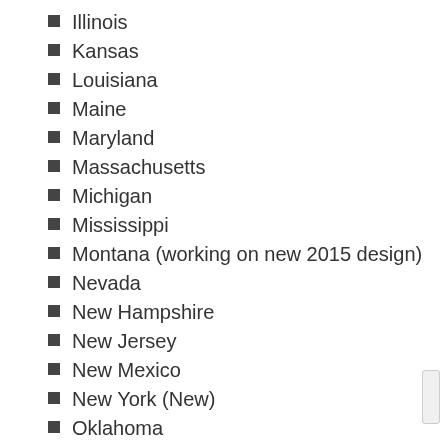Illinois
Kansas
Louisiana
Maine
Maryland
Massachusetts
Michigan
Mississippi
Montana (working on new 2015 design)
Nevada
New Hampshire
New Jersey
New Mexico
New York (New)
Oklahoma
Oregon
Pennsylvania
Texas
Washington
West Virginia
Wisconsin
Princeton in... Template Editable...